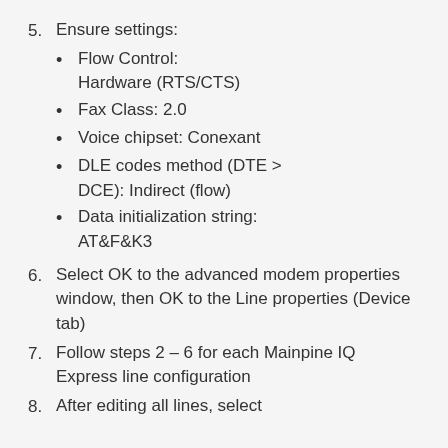5. Ensure settings: Flow Control: Hardware (RTS/CTS), Fax Class: 2.0, Voice chipset: Conexant, DLE codes method (DTE > DCE): Indirect (flow), Data initialization string: AT&F&K3
6. Select OK to the advanced modem properties window, then OK to the Line properties (Device tab)
7. Follow steps 2 – 6 for each Mainpine IQ Express line configuration
8. After editing all lines, select